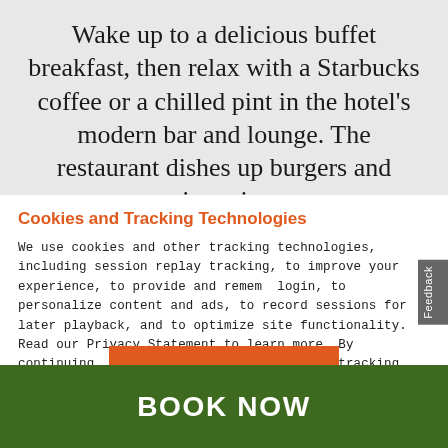Wake up to a delicious buffet breakfast, then relax with a Starbucks coffee or a chilled pint in the hotel's modern bar and lounge. The restaurant dishes up burgers and pizzas in a
Cookies and Tracking Technologies
We use cookies and other tracking technologies, including session replay tracking, to improve your experience, to provide and remember login, to personalize content and ads, to record sessions for later playback, and to optimize site functionality. Read our Privacy Statement to learn more. By continuing, you consent to our use of these tracking technologies and our terms including important waivers. To learn more about the trackers on our site and change your preferences, View Settings.
ACCEPT
BOOK NOW